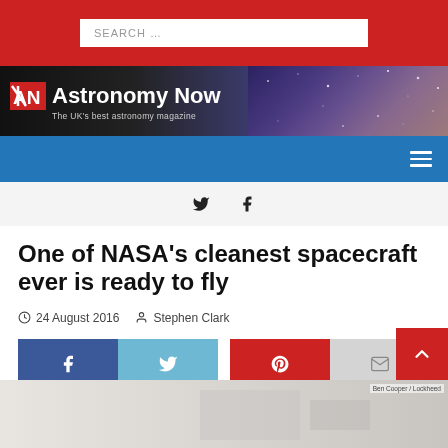SEARCH …
[Figure (logo): Astronomy Now logo with AN icon and nebula background. Text: Astronomy Now — The UK's best astronomy magazine]
Navigation bar with hamburger menu icon
Social icons: Twitter, Facebook
One of NASA's cleanest spacecraft ever is ready to fly
24 August 2016  Stephen Clark
[Figure (infographic): Share buttons: Facebook (blue), Twitter (light blue), Pinterest (red), Email (grey)]
[Figure (photo): Partial view of a spacecraft or clean room image at the bottom of the page. Image credit: Ben Cooper / Lockheed]